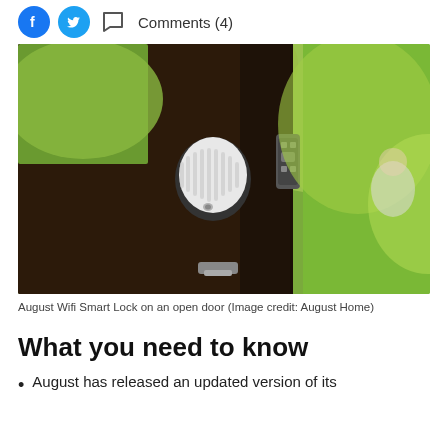Comments (4)
[Figure (photo): August Wifi Smart Lock mounted on a dark wooden door, shown from an angle. A white cylindrical smart lock knob is visible in the center, with a small access pad to the right. Green bokeh background with a blurred figure visible on the right side.]
August Wifi Smart Lock on an open door (Image credit: August Home)
What you need to know
August has released an updated version of its